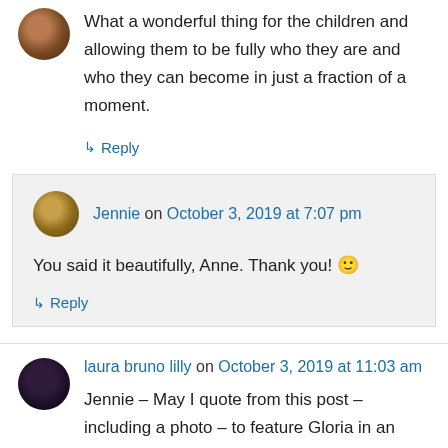What a wonderful thing for the children and allowing them to be fully who they are and who they can become in just a fraction of a moment.
↳ Reply
Jennie on October 3, 2019 at 7:07 pm
You said it beautifully, Anne. Thank you! 🙂
↳ Reply
laura bruno lilly on October 3, 2019 at 11:03 am
Jennie – May I quote from this post – including a photo – to feature Gloria in an upcoming VBSC